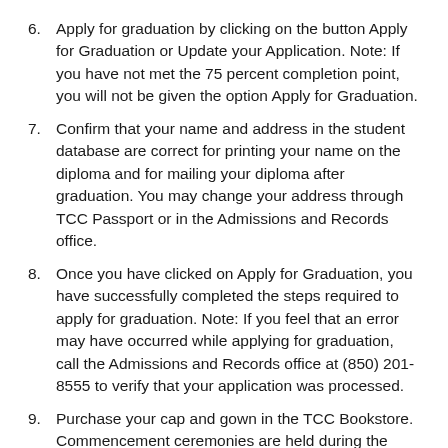6. Apply for graduation by clicking on the button Apply for Graduation or Update your Application. Note: If you have not met the 75 percent completion point, you will not be given the option Apply for Graduation.
7. Confirm that your name and address in the student database are correct for printing your name on the diploma and for mailing your diploma after graduation. You may change your address through TCC Passport or in the Admissions and Records office.
8. Once you have clicked on Apply for Graduation, you have successfully completed the steps required to apply for graduation. Note: If you feel that an error may have occurred while applying for graduation, call the Admissions and Records office at (850) 201-8555 to verify that your application was processed.
9. Purchase your cap and gown in the TCC Bookstore. Commencement ceremonies are held during the Spring term each year. Information about the